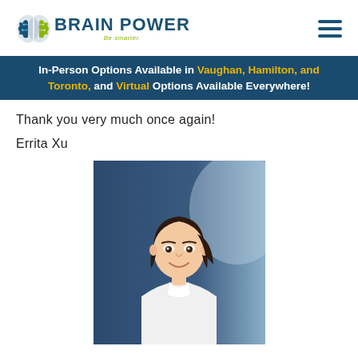[Figure (logo): Brain Power logo with brain icon and tagline 'Be smarter.']
In-Person Options Available in Vaughan, Hamilton, and Toronto, and Virtual Options Available Everywhere!
Thank you very much once again!
Errita Xu
[Figure (photo): Portrait photo of a young girl named Errita Xu, wearing a white shirt, smiling, against a blue-grey background.]